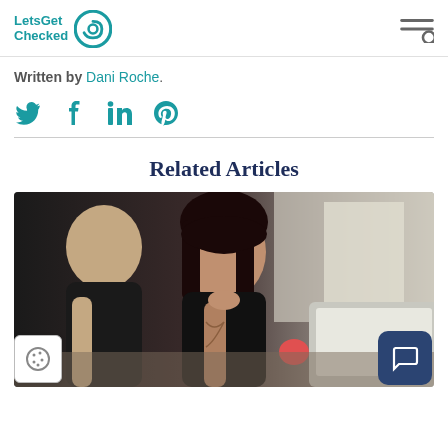LetsGet Checked
Written by Dani Roche.
[Figure (illustration): Social media share icons: Twitter (bird), Facebook (f), LinkedIn (in), Pinterest (P) in teal/cyan color]
Related Articles
[Figure (photo): A couple, a tattooed woman with dark hair and a bearded man, looking at a laptop together at a table]